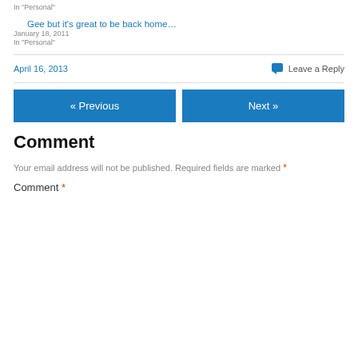In "Personal"
Gee but it's great to be back home…
January 18, 2011
In "Personal"
April 16, 2013
💬 Leave a Reply
« Previous
Next »
Comment
Your email address will not be published. Required fields are marked *
Comment *